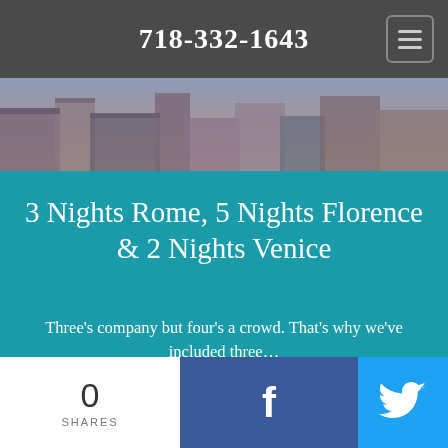718-332-1643
[Figure (photo): Aerial/rooftop view of a European city with terracotta rooftops and buildings]
3 Nights Rome, 5 Nights Florence & 2 Nights Venice
Three's company but four's a crowd. That's why we've included three…
View details »
[Figure (photo): Partial view of a classical statue against a blue background]
0
SHARES